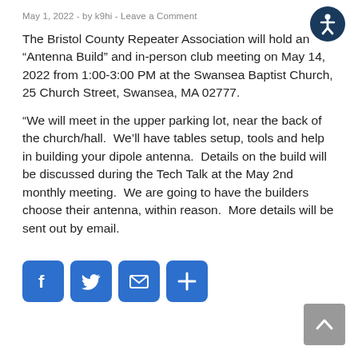May 1, 2022  -  by k9hi  -  Leave a Comment
The Bristol County Repeater Association will hold an “Antenna Build” and in-person club meeting on May 14, 2022 from 1:00-3:00 PM at the Swansea Baptist Church, 25 Church Street, Swansea, MA 02777.
“We will meet in the upper parking lot, near the back of the church/hall.  We’ll have tables setup, tools and help in building your dipole antenna.  Details on the build will be discussed during the Tech Talk at the May 2nd monthly meeting.  We are going to have the builders choose their antenna, within reason.  More details will be sent out by email.
[Figure (infographic): Row of four blue rounded-square social share buttons: Facebook (f), Twitter (bird), Email (envelope), More (+)]
[Figure (other): Accessibility icon: dark blue circle with white person/wheelchair figure]